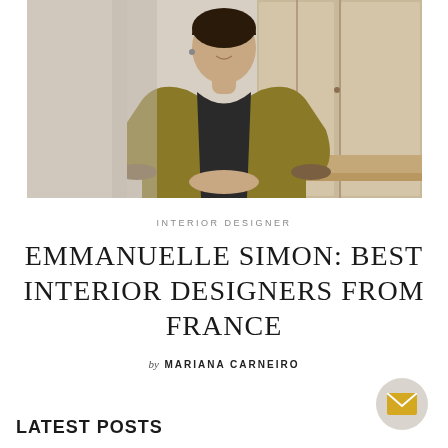[Figure (photo): Portrait photo of Emmanuelle Simon, a woman wearing a mustard/olive-colored kimono-style jacket over a dark top, standing in front of wooden paneled cabinetry]
INTERIOR DESIGNER
EMMANUELLE SIMON: BEST INTERIOR DESIGNERS FROM FRANCE
by MARIANA CARNEIRO
LATEST POSTS